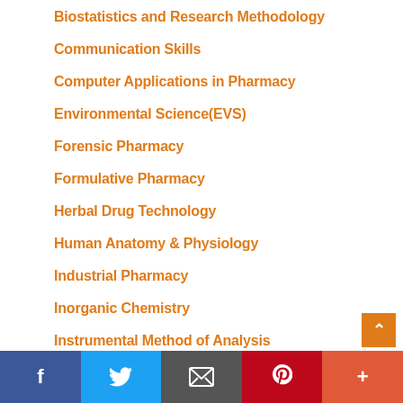Biostatistics and Research Methodology
Communication Skills
Computer Applications in Pharmacy
Environmental Science(EVS)
Forensic Pharmacy
Formulative Pharmacy
Herbal Drug Technology
Human Anatomy & Physiology
Industrial Pharmacy
Inorganic Chemistry
Instrumental Method of Analysis
MCQs
Medicinal Chemistry
f  Twitter  Email  Pinterest  +